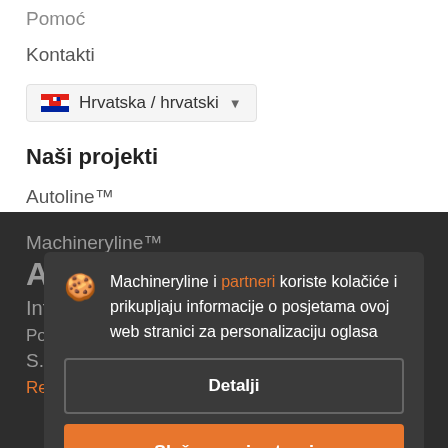Kontakti
Hrvatska / hrvatski
Naši projekti
Autoline™
Machineryline™
A...
Inform...
Machineryline i partneri koriste kolačiće i prikupljaju informacije o posjetama ovoj web stranici za personalizaciju oglasa
Detalji
Slažem se i zatvori
Politika privatnosti
S...
Recenzije o Machineryline